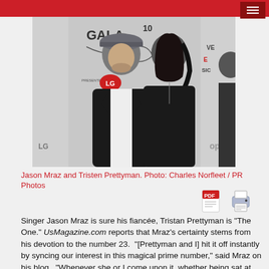[Figure (photo): Jason Mraz and Tristen Prettyman posing together at a GALA 10 event sponsored by LG. Man wearing hat and black jacket; woman in black dress. Step-and-repeat banner visible in background.]
Jason Mraz and Tristen Prettyman. Photo: Charles Norfleet / PR Photos
Singer Jason Mraz is sure his fiancée, Tristan Prettyman is “The One.” UsMagazine.com reports that Mraz’s certainty stems from his devotion to the number 23. “[Prettyman and I] hit it off instantly by syncing our interest in this magical prime number,” said Mraz on his blog. “Whenever she or I come upon it, whether being sat at table 23, or